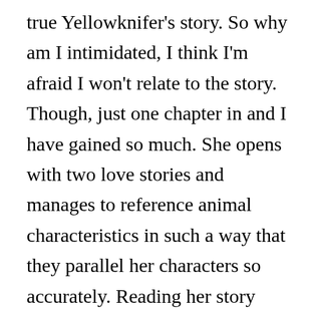true Yellowknifer's story. So why am I intimidated, I think I'm afraid I won't relate to the story. Though, just one chapter in and I have gained so much. She opens with two love stories and manages to reference animal characteristics in such a way that they parallel her characters so accurately. Reading her story and imagining how she's crafted it, the steps she's taken to get there is inspiring to...